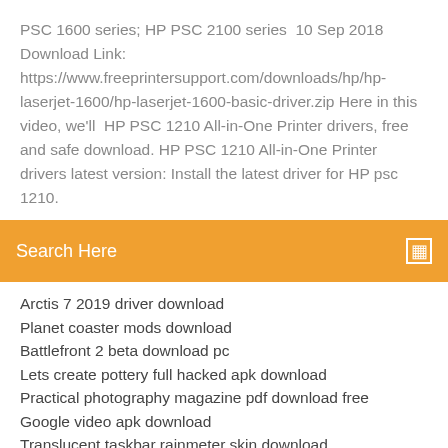PSC 1600 series; HP PSC 2100 series  10 Sep 2018 Download Link: https://www.freeprintersupport.com/downloads/hp/hp-laserjet-1600/hp-laserjet-1600-basic-driver.zip Here in this video, we'll  HP PSC 1210 All-in-One Printer drivers, free and safe download. HP PSC 1210 All-in-One Printer drivers latest version: Install the latest driver for HP psc 1210.
Search Here
Arctis 7 2019 driver download
Planet coaster mods download
Battlefront 2 beta download pc
Lets create pottery full hacked apk download
Practical photography magazine pdf download free
Google video apk download
Translucent taskbar rainmeter skin download
School website free download android
Android pc app download
Download online textbooks for college pdf free